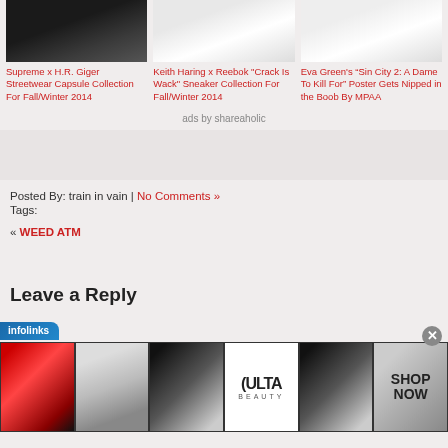[Figure (photo): Supreme x H.R. Giger streetwear clothing item, dark background]
Supreme x H.R. Giger Streetwear Capsule Collection For Fall/Winter 2014
[Figure (photo): Keith Haring x Reebok sneaker, white/orange helmet/shoe]
Keith Haring x Reebok "Crack Is Wack" Sneaker Collection For Fall/Winter 2014
[Figure (photo): Eva Green Sin City 2 movie poster]
Eva Green's “Sin City 2: A Dame To Kill For” Poster Gets Nipped in the Boob By MPAA
ads by shareaholic
Posted By: train in vain | No Comments »
Tags:
« WEED ATM
Leave a Reply
[Figure (photo): Infolinks advertisement bar showing beauty/makeup images and ULTA beauty ad with SHOP NOW button]